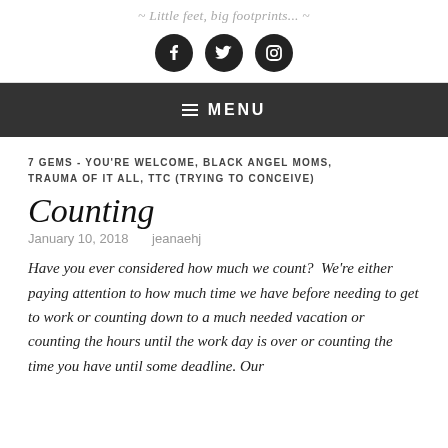~ Little feet, big footprints... ~
[Figure (illustration): Three social media icons in black circles: Facebook, Twitter, Instagram]
MENU
7 GEMS - YOU'RE WELCOME, BLACK ANGEL MOMS, TRAUMA OF IT ALL, TTC (TRYING TO CONCEIVE)
Counting
January 10, 2018    jeanaehj
Have you ever considered how much we count?  We're either paying attention to how much time we have before needing to get to work or counting down to a much needed vacation or counting the hours until the work day is over or counting the time you have until some deadline. Our